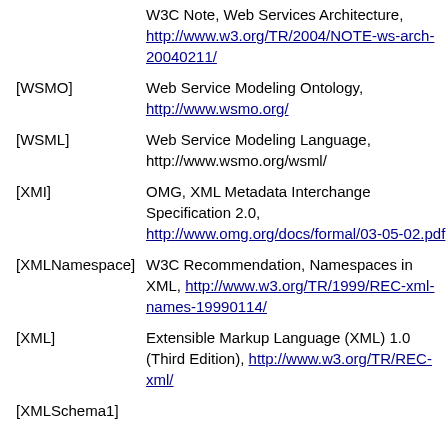[...] W3C Note, Web Services Architecture, http://www.w3.org/TR/2004/NOTE-ws-arch-20040211/
[WSMO] Web Service Modeling Ontology, http://www.wsmo.org/
[WSML] Web Service Modeling Language, http://www.wsmo.org/wsml/
[XMI] OMG, XML Metadata Interchange Specification 2.0, http://www.omg.org/docs/formal/03-05-02.pdf
[XMLNamespace] W3C Recommendation, Namespaces in XML, http://www.w3.org/TR/1999/REC-xml-names-19990114/
[XML] Extensible Markup Language (XML) 1.0 (Third Edition), http://www.w3.org/TR/REC-xml/
[XMLSchema1]